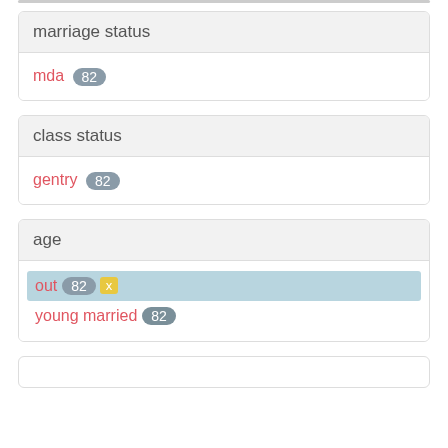marriage status
mda 82
class status
gentry 82
age
out 82 x
young married 82